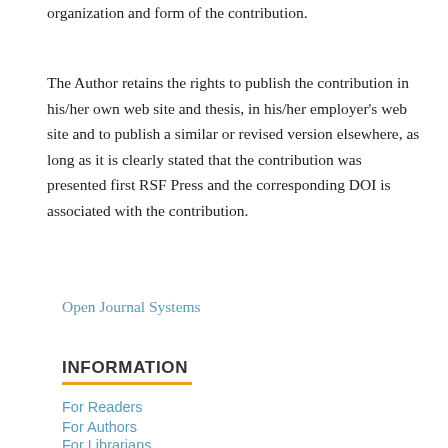organization and form of the contribution.
The Author retains the rights to publish the contribution in his/her own web site and thesis, in his/her employer's web site and to publish a similar or revised version elsewhere, as long as it is clearly stated that the contribution was presented first RSF Press and the corresponding DOI is associated with the contribution.
Open Journal Systems
INFORMATION
For Readers
For Authors
For Librarians